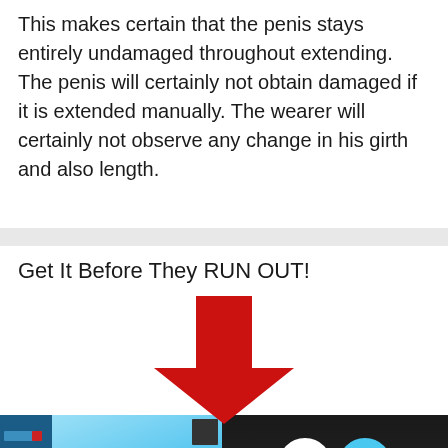This makes certain that the penis stays entirely undamaged throughout extending. The penis will certainly not obtain damaged if it is extended manually. The wearer will certainly not observe any change in his girth and also length.
Get It Before They RUN OUT!
[Figure (illustration): Red downward-pointing arrow above two product images showing a blue medical/extension device on a light blue background (left) and a white device component on a dark background (right).]